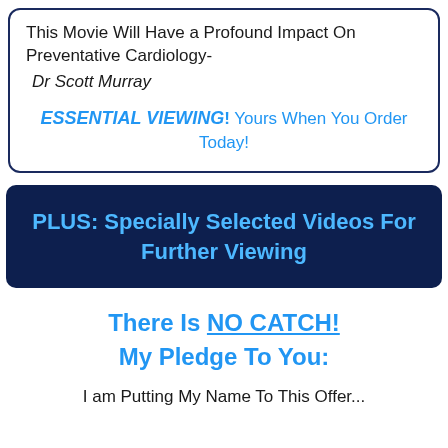This Movie Will Have a Profound Impact On Preventative Cardiology-
Dr Scott Murray
ESSENTIAL VIEWING! Yours When You Order Today!
PLUS: Specially Selected Videos For Further Viewing
There Is NO CATCH!
My Pledge To You:
I am Putting My Name To This Offer...